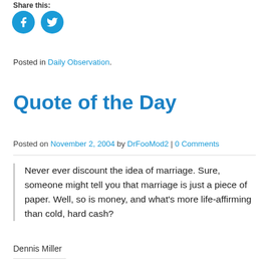Share this:
[Figure (other): Facebook and Twitter social share icon buttons (circular blue icons)]
Posted in Daily Observation.
Quote of the Day
Posted on November 2, 2004 by DrFooMod2 | 0 Comments
Never ever discount the idea of marriage. Sure, someone might tell you that marriage is just a piece of paper. Well, so is money, and what's more life-affirming than cold, hard cash?
Dennis Miller